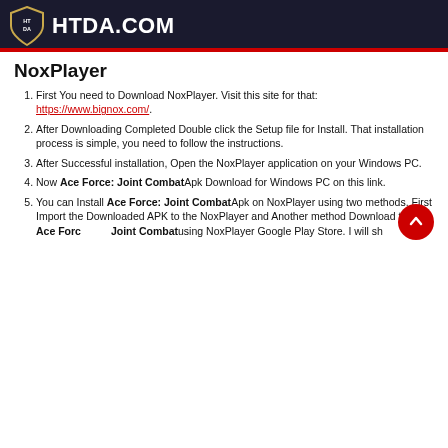HTDA.COM
NoxPlayer
First You need to Download NoxPlayer. Visit this site for that: https://www.bignox.com/.
After Downloading Completed Double click the Setup file for Install. That installation process is simple, you need to follow the instructions.
After Successful installation, Open the NoxPlayer application on your Windows PC.
Now Ace Force: Joint Combat Apk Download for Windows PC on this link.
You can Install Ace Force: Joint Combat Apk on NoxPlayer using two methods. First Import the Downloaded APK to the NoxPlayer and Another method Download the Ace Force: Joint Combat using NoxPlayer Google Play Store. I will sh...